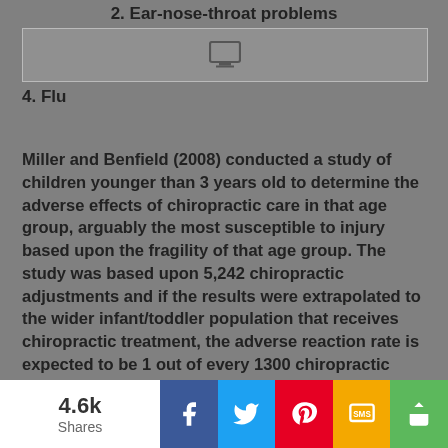2. Ear-nose-throat problems
[Figure (other): Advertisement or media placeholder box with monitor/screen icon]
4. Flu
Miller and Benfield (2008) conducted a study of children younger than 3 years old to determine the adverse effects of chiropractic care in that age group, arguably the most susceptible to injury based upon the fragility of that age group. The study was based upon 5,242 chiropractic adjustments and if the results were extrapolated to the wider infant/toddler population that receives chiropractic treatment, the adverse reaction rate is expected to be 1 out of every 1300 chiropractic adjustments. There was less than 1% of patients experiencing negative side
4.6k Shares | Facebook | Twitter | Pinterest | SMS | Share